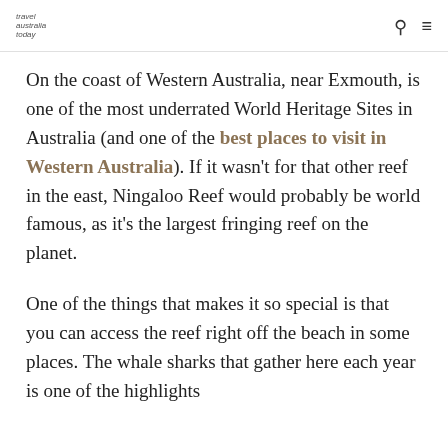travel australia today
On the coast of Western Australia, near Exmouth, is one of the most underrated World Heritage Sites in Australia (and one of the best places to visit in Western Australia). If it wasn't for that other reef in the east, Ningaloo Reef would probably be world famous, as it's the largest fringing reef on the planet.
One of the things that makes it so special is that you can access the reef right off the beach in some places. The whale sharks that gather here each year is one of the highlights (